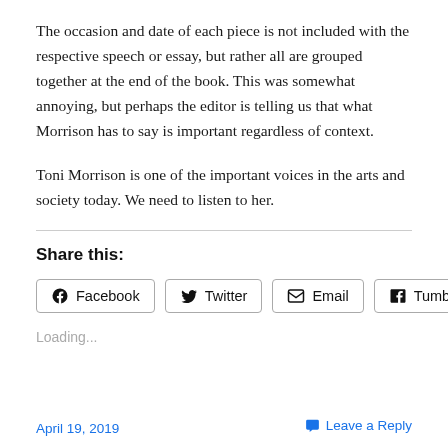The occasion and date of each piece is not included with the respective speech or essay, but rather all are grouped together at the end of the book. This was somewhat annoying, but perhaps the editor is telling us that what Morrison has to say is important regardless of context.
Toni Morrison is one of the important voices in the arts and society today. We need to listen to her.
Share this:
Facebook  Twitter  Email  Tumblr
Loading...
April 19, 2019    Leave a Reply